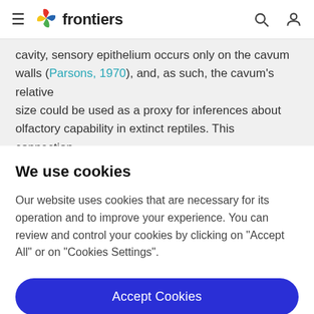frontiers
cavity, sensory epithelium occurs only on the cavum walls (Parsons, 1970), and, as such, the cavum's relative size could be used as a proxy for inferences about olfactory capability in extinct reptiles. This connection, however, should be interpreted cautiously, due to the
We use cookies
Our website uses cookies that are necessary for its operation and to improve your experience. You can review and control your cookies by clicking on "Accept All" or on "Cookies Settings".
Accept Cookies
Cookies Settings